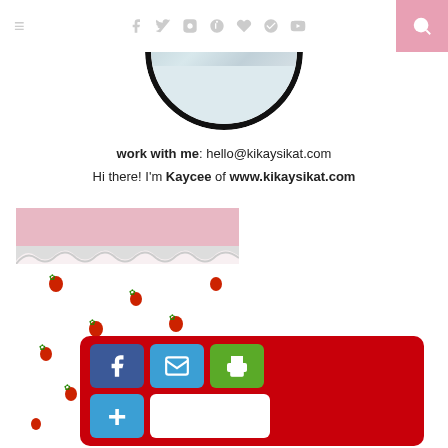≡  [social icons: facebook, twitter, instagram, pinterest, heart, google+, youtube]  [search icon]
[Figure (photo): Circular cropped photo showing a bathroom with tiled walls and a round mirror, partially visible at top of page]
work with me: hello@kikaysikat.com
Hi there! I'm Kaycee of www.kikaysikat.com
[Figure (photo): Photo of a white skirt/curtain with red strawberry print pattern hanging against a pink background]
[Figure (infographic): Red share bar overlay with Facebook (blue), Email (blue), Print (green) buttons in top row, and a blue plus button with white blank area in bottom row]